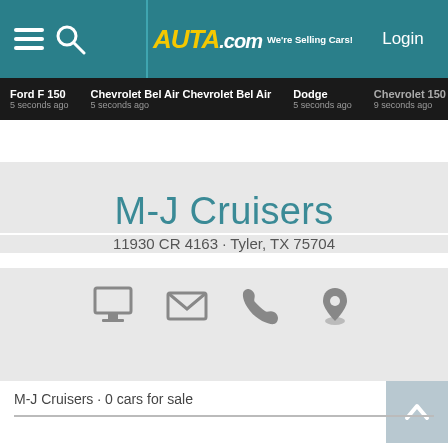AUTA.com We're Selling Cars! Login
Ford F 150 5 seconds ago  Chevrolet Bel Air Chevrolet Bel Air 5 seconds ago  Dodge 5 seconds ago  Chevrolet 150 9 seconds ago
M-J Cruisers
11930 CR 4163 · Tyler, TX 75704
[Figure (infographic): Four icons: monitor/computer, envelope/email, phone, map pin/location]
M-J Cruisers · 0 cars for sale